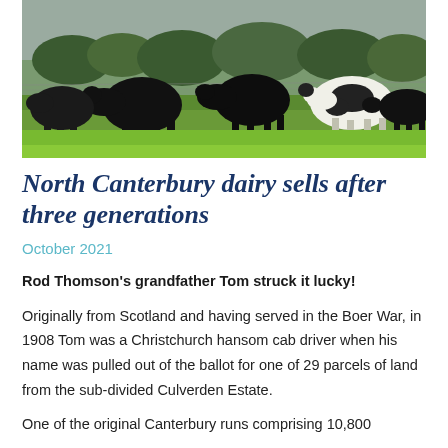[Figure (photo): A herd of black and white dairy cows grazing on bright green pasture, with trees and overcast sky in the background.]
North Canterbury dairy sells after three generations
October 2021
Rod Thomson's grandfather Tom struck it lucky!
Originally from Scotland and having served in the Boer War, in 1908 Tom was a Christchurch hansom cab driver when his name was pulled out of the ballot for one of 29 parcels of land from the sub-divided Culverden Estate.
One of the original Canterbury runs comprising 10,800